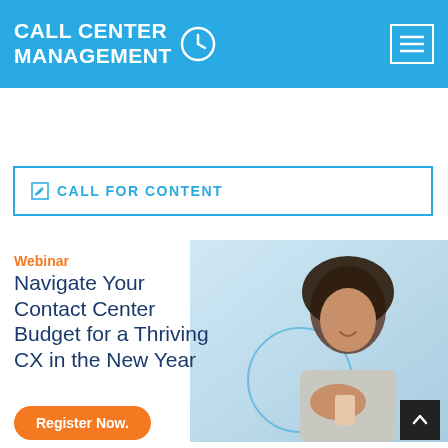CALL CENTER MANAGEMENT
✎ CALL FOR CONTENT
Webinar
Navigate Your Contact Center Budget for a Thriving CX in the New Year
[Figure (photo): Woman with natural hair looking down at a phone, smiling, with a light blue background and a circular blue graphic overlay]
Register Now.